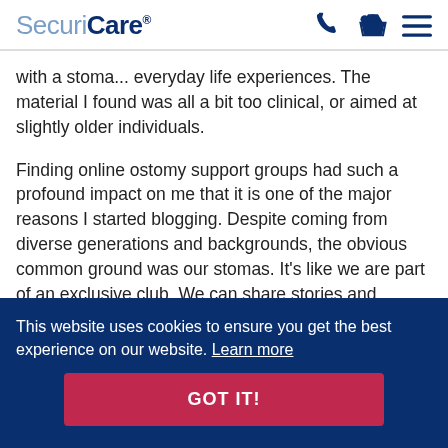SecuriCare
with a stoma... everyday life experiences. The material I found was all a bit too clinical, or aimed at slightly older individuals.
Finding online ostomy support groups had such a profound impact on me that it is one of the major reasons I started blogging. Despite coming from diverse generations and backgrounds, the obvious common ground was our stomas. It’s like we are part of an exclusive club. We can share stories and experiences and ask questions about products from real people with real life experiences. What soon became apparent is that,
This website uses cookies to ensure you get the best experience on our website. Learn more
GOT IT!